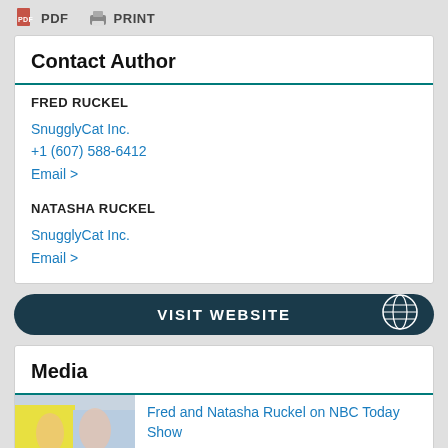PDF   PRINT
Contact Author
FRED RUCKEL
SnugglyCat Inc.
+1 (607) 588-6412
Email >
NATASHA RUCKEL
SnugglyCat Inc.
Email >
VISIT WEBSITE
Media
Fred and Natasha Ruckel on NBC Today Show